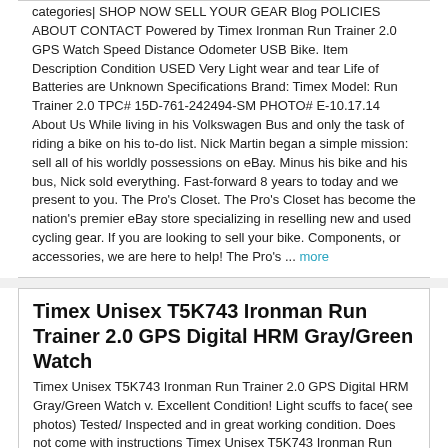categories| SHOP NOW SELL YOUR GEAR Blog POLICIES ABOUT CONTACT Powered by Timex Ironman Run Trainer 2.0 GPS Watch Speed Distance Odometer USB Bike. Item Description Condition USED Very Light wear and tear Life of Batteries are Unknown Specifications Brand: Timex Model: Run Trainer 2.0 TPC# 15D-761-242494-SM PHOTO# E-10.17.14 About Us While living in his Volkswagen Bus and only the task of riding a bike on his to-do list. Nick Martin began a simple mission: sell all of his worldly possessions on eBay. Minus his bike and his bus, Nick sold everything. Fast-forward 8 years to today and we present to you. The Pro's Closet. The Pro's Closet has become the nation's premier eBay store specializing in reselling new and used cycling gear. If you are looking to sell your bike. Components, or accessories, we are here to help! The Pro's ... more
Timex Unisex T5K743 Ironman Run Trainer 2.0 GPS Digital HRM Gray/Green Watch
Timex Unisex T5K743 Ironman Run Trainer 2.0 GPS Digital HRM Gray/Green Watch v. Excellent Condition! Light scuffs to face( see photos) Tested/ Inspected and in great working condition. Does not come with instructions Timex Unisex T5K743 Ironman Run Trainer 2.0 GPS Digital HRM Gray/Green Watch& Flex Tech Chest Strap Heart Rate Monitor and GPS-Enabled to Measure Pace. Speed, Distance and More in Real-Time Fast. Reliable SiRFstar IV GPS Technology with 8-Hour Battery Life Highly Customizable. Easy-Read Screen Shows Two or Three Lines of Data at a Glance USB Rechargeable and Water-Resistant Rated to 165 feet(50 M) 15-Workout Memory with Free Online Downloading and Desktop Software Please see the rest of our items for more great deals! New Customers- The items we sell range in condition from shelf pulls to store returns. Some boxes may be ... more
Timex Unisex Ironman Run Trainer 2.0 GPS watch w